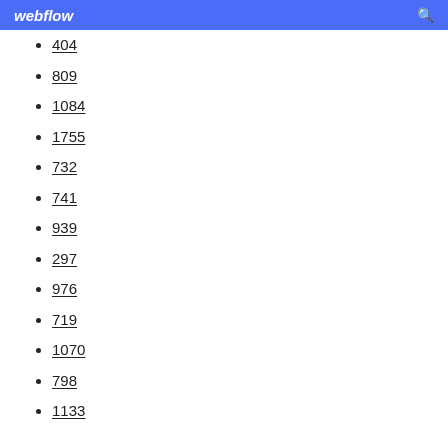webflow [search icon]
404
809
1084
1755
732
741
939
297
976
719
1070
798
1133